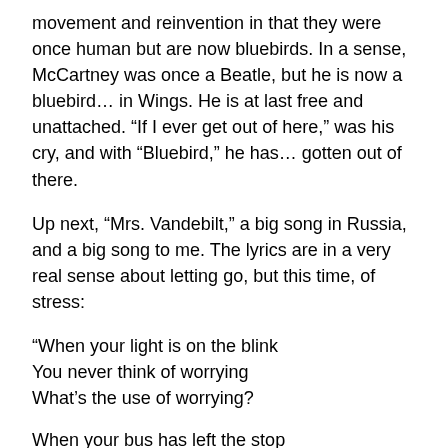movement and reinvention in that they were once human but are now bluebirds. In a sense, McCartney was once a Beatle, but he is now a bluebird… in Wings. He is at last free and unattached. “If I ever get out of here,” was his cry, and with “Bluebird,” he has… gotten out of there.
Up next, “Mrs. Vandebilt,” a big song in Russia, and a big song to me. The lyrics are in a very real sense about letting go, but this time, of stress:
“When your light is on the blink
You never think of worrying
What’s the use of worrying?

When your bus has left the stop
You’d better drop your hurrying
What’s the use of hurrying?